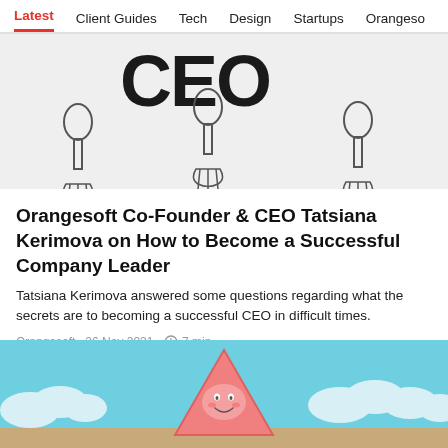Latest  Client Guides  Tech  Design  Startups  Orangeso
[Figure (illustration): Illustration of hands holding microphones pointing upward with large stylized 'CEO' letters in the background on a light gray background]
Orangesoft Co-Founder & CEO Tatsiana Kerimova on How to Become a Successful Company Leader
Tatsiana Kerimova answered some questions regarding what the secrets are to becoming a successful CEO in difficult times.
Orangesoft · 26 Nov 2021 · ⊙ 7 min
[Figure (illustration): Colorful illustration showing a cartoon triangular character with a smiling face against a sky-blue background with clouds, partially visible at the bottom of the page]